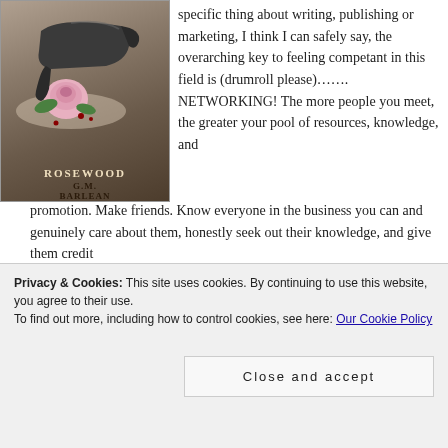[Figure (illustration): Book cover of 'Rosewood' by G.M. Barlean, showing a high-heeled shoe and a pink rose with blood drops on a light background.]
specific thing about writing, publishing or marketing, I think I can safely say, the overarching key to feeling competant in this field is (drumroll please)……. NETWORKING! The more people you meet, the greater your pool of resources, knowledge, and promotion. Make friends. Know everyone in the business you can and genuinely care about them, honestly seek out their knowledge, and give them credit for anything you learn from them. Help promote them
Privacy & Cookies: This site uses cookies. By continuing to use this website, you agree to their use.
To find out more, including how to control cookies, see here: Our Cookie Policy
Close and accept